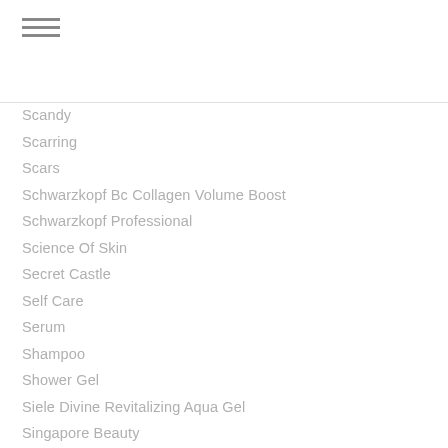☰
Scandy
Scarring
Scars
Schwarzkopf Bc Collagen Volume Boost
Schwarzkopf Professional
Science Of Skin
Secret Castle
Self Care
Serum
Shampoo
Shower Gel
Siele Divine Revitalizing Aqua Gel
Singapore Beauty
Sister Xmas Fit
Skincare
Skin Care
Skinchemists
Skin Repair